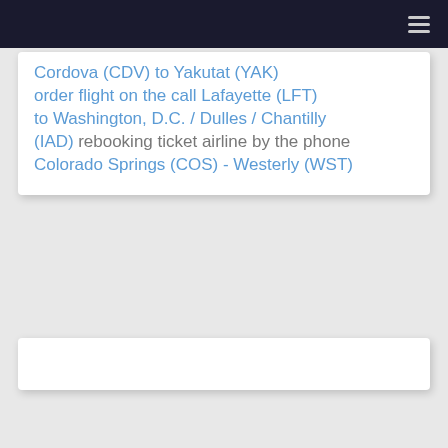☰
Cordova (CDV) to Yakutat (YAK) order flight on the call Lafayette (LFT) to Washington, D.C. / Dulles / Chantilly (IAD) rebooking ticket airline by the phone Colorado Springs (COS) - Westerly (WST)